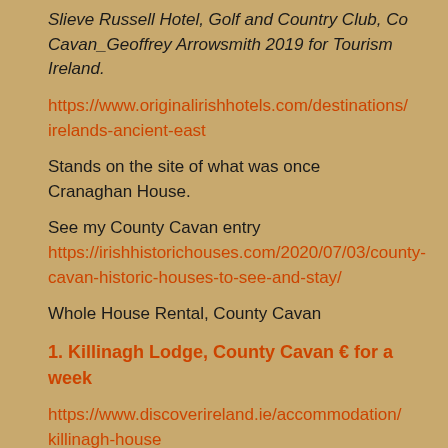Slieve Russell Hotel, Golf and Country Club, Co Cavan_Geoffrey Arrowsmith 2019 for Tourism Ireland.
https://www.originalirishhotels.com/destinations/irelands-ancient-east
Stands on the site of what was once Cranaghan House.
See my County Cavan entry https://irishhistorichouses.com/2020/07/03/county-cavan-historic-houses-to-see-and-stay/
Whole House Rental, County Cavan
1. Killinagh Lodge, County Cavan € for a week
https://www.discoverireland.ie/accommodation/killinagh-house